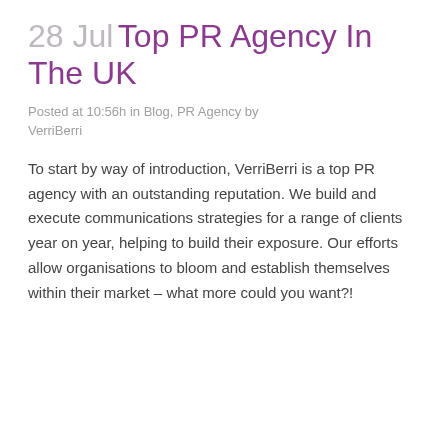28 Jul Top PR Agency In The UK
Posted at 10:56h in Blog, PR Agency by VerriBerri
To start by way of introduction, VerriBerri is a top PR agency with an outstanding reputation. We build and execute communications strategies for a range of clients year on year, helping to build their exposure. Our efforts allow organisations to bloom and establish themselves within their market – what more could you want?!